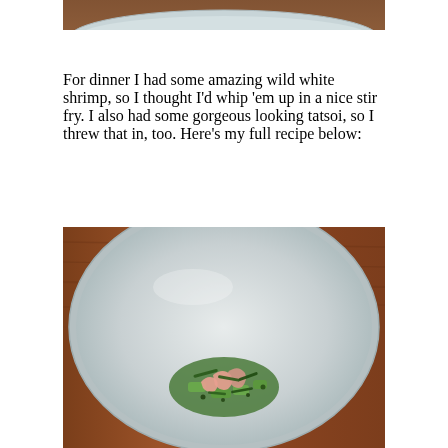[Figure (photo): Top portion of a white/light blue ceramic bowl on a wooden surface, partially cropped at top of page]
For dinner I had some amazing wild white shrimp, so I thought I'd whip 'em up in a nice stir fry. I also had some gorgeous looking tatsoi, so I threw that in, too. Here's my full recipe below:
[Figure (photo): Overhead view of a large light grey ceramic bowl on a wood table, containing a shrimp and tatsoi stir fry with green onions and cucumber]